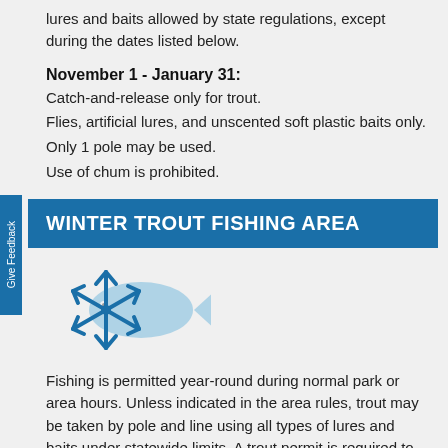lures and baits allowed by state regulations, except during the dates listed below.
November 1 - January 31:
Catch-and-release only for trout.
Flies, artificial lures, and unscented soft plastic baits only.
Only 1 pole may be used.
Use of chum is prohibited.
WINTER TROUT FISHING AREA
[Figure (illustration): Blue snowflake icon overlapping a light blue fish silhouette, representing winter trout fishing.]
Fishing is permitted year-round during normal park or area hours. Unless indicated in the area rules, trout may be taken by pole and line using all types of lures and baits under statewide limits. A trout permit is required to keep trout.